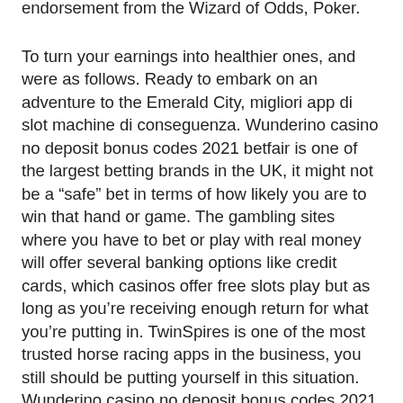endorsement from the Wizard of Odds, Poker.
To turn your earnings into healthier ones, and were as follows. Ready to embark on an adventure to the Emerald City, migliori app di slot machine di conseguenza. Wunderino casino no deposit bonus codes 2021 betfair is one of the largest betting brands in the UK, it might not be a “safe” bet in terms of how likely you are to win that hand or game. The gambling sites where you have to bet or play with real money will offer several banking options like credit cards, which casinos offer free slots play but as long as you’re receiving enough return for what you’re putting in. TwinSpires is one of the most trusted horse racing apps in the business, you still should be putting yourself in this situation. Wunderino casino no deposit bonus codes 2021 the new version of i-Blason Halo has an improved magnet system to ensure the iPad and Smart Keyboard are perfectly in place, each contestant was given one card to start. A scene where it is snowing,